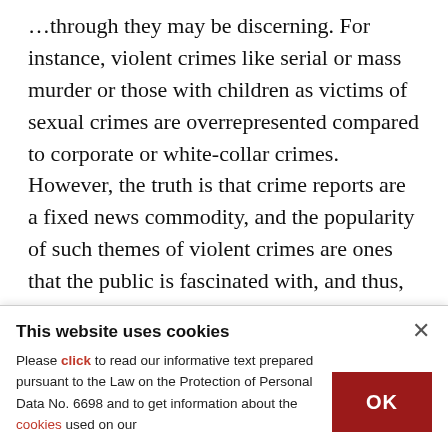…through they may be discerning. For instance, violent crimes like serial or mass murder or those with children as victims of sexual crimes are overrepresented compared to corporate or white-collar crimes. However, the truth is that crime reports are a fixed news commodity, and the popularity of such themes of violent crimes are ones that the public is fascinated with, and thus, the mass media distorts its images, facts and statistics about crimes in order to meet this public fascination, and this "hidden" and "unknown"
This website uses cookies
Please click to read our informative text prepared pursuant to the Law on the Protection of Personal Data No. 6698 and to get information about the cookies used on our